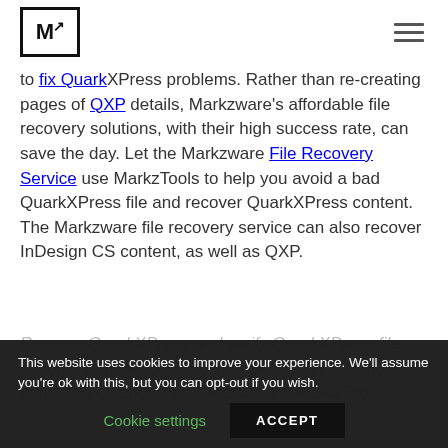M↗ logo and hamburger menu
to fix QuarkXPress problems. Rather than re-creating pages of QXP details, Markzware's affordable file recovery solutions, with their high success rate, can save the day. Let the Markzware File Recovery Service use MarkzTools to help you avoid a bad QuarkXPress file and recover QuarkXPress content. The Markzware file recovery service can also recover InDesign CS content, as well as QXP.
Recover QuarkXPress and verify QuarkXPress file integrity with the QuarkXPress XTension to handle corrupted QuarkXPress. Markzware MarkzTools!
This website uses cookies to improve your experience. We'll assume you're ok with this, but you can opt-out if you wish. Cookie settings ACCEPT